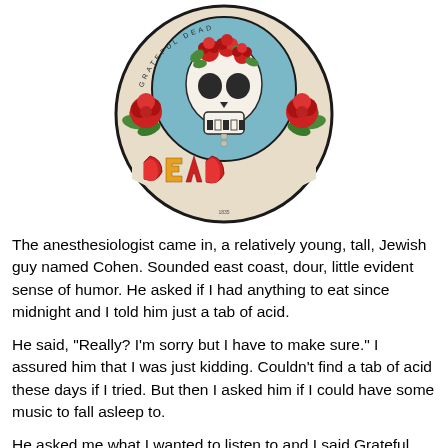[Figure (illustration): Grateful Dead skull and roses logo — a circular sticker showing a skull with roses on its head, flanked by red roses and green leaves, with the word 'DEAD' in colorful stylized lettering at the bottom, on a cream background with a dark border.]
The anesthesiologist came in, a relatively young, tall, Jewish guy named Cohen. Sounded east coast, dour, little evident sense of humor. He asked if I had anything to eat since midnight and I told him just a tab of acid.
He said, "Really? I'm sorry but I have to make sure." I assured him that I was just kidding. Couldn't find a tab of acid these days if I tried. But then I asked him if I could have some music to fall asleep to.
He asked me what I wanted to listen to and I said Grateful Dead as it always relaxes me when I go under in these kinds of operations and I also think it has a good effect on the